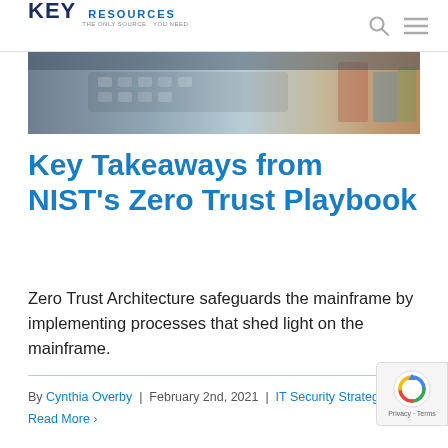KEY RESOURCES
[Figure (photo): Person typing on a keyboard, partially cropped hero image at top of article]
Key Takeaways from NIST’s Zero Trust Playbook
Zero Trust Architecture safeguards the mainframe by implementing processes that shed light on the mainframe.
By Cynthia Overby | February 2nd, 2021 | IT Security Strateg…
Read More ›